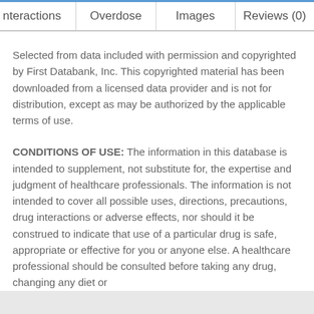nteractions | Overdose | Images | Reviews (0)
Selected from data included with permission and copyrighted by First Databank, Inc. This copyrighted material has been downloaded from a licensed data provider and is not for distribution, except as may be authorized by the applicable terms of use.
CONDITIONS OF USE: The information in this database is intended to supplement, not substitute for, the expertise and judgment of healthcare professionals. The information is not intended to cover all possible uses, directions, precautions, drug interactions or adverse effects, nor should it be construed to indicate that use of a particular drug is safe, appropriate or effective for you or anyone else. A healthcare professional should be consulted before taking any drug, changing any diet or